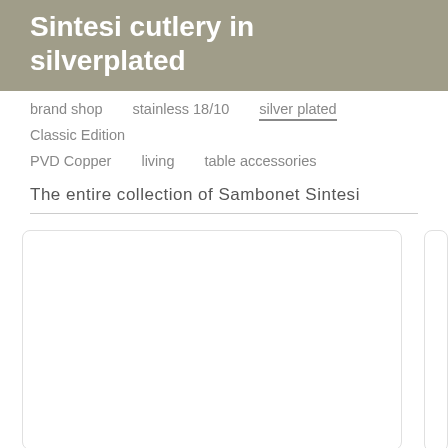Sintesi cutlery in silverplated
brand shop   stainless 18/10   silver plated   Classic Edition   PVD Copper   living   table accessories
The entire collection of Sambonet Sintesi
[Figure (other): Product cards area showing cutlery collection items, partially visible card on the right edge]